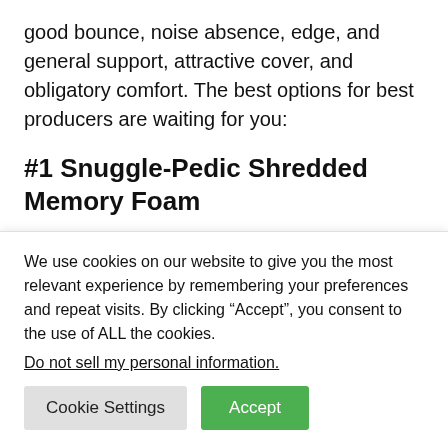good bounce, noise absence, edge, and general support, attractive cover, and obligatory comfort. The best options for best producers are waiting for you:
#1 Snuggle-Pedic Shredded Memory Foam
Bamboo pillow from Snuggle-Pedic is
We use cookies on our website to give you the most relevant experience by remembering your preferences and repeat visits. By clicking “Accept”, you consent to the use of ALL the cookies.
Do not sell my personal information.